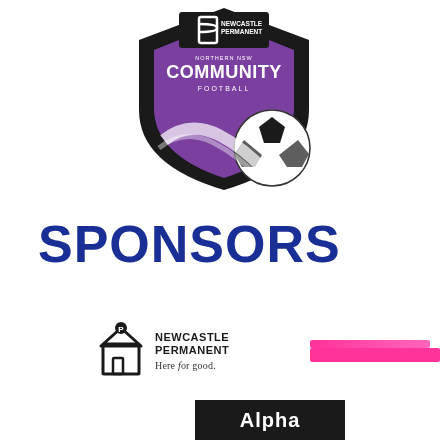[Figure (logo): Newcastle Permanent Northern NSW Community Football shield logo with soccer ball]
SPONSORS
[Figure (logo): Newcastle Permanent building society logo with house icon and tagline 'Here for good.']
[Figure (logo): Pink sponsor logo (partially visible)]
[Figure (logo): Alpha sponsor logo on dark background (partially visible)]